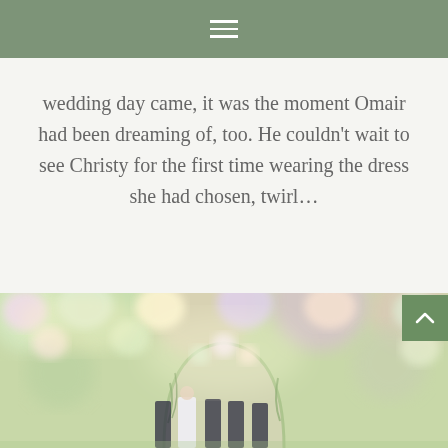≡
wedding day came, it was the moment Omair had been dreaming of, too. He couldn't wait to see Christy for the first time wearing the dress she had chosen, twirl...
READ MORE
[Figure (photo): Wedding ceremony photo showing a floral arch decorated with pink, white, and purple flowers, with wedding party standing underneath, surrounded by lush floral arrangements]